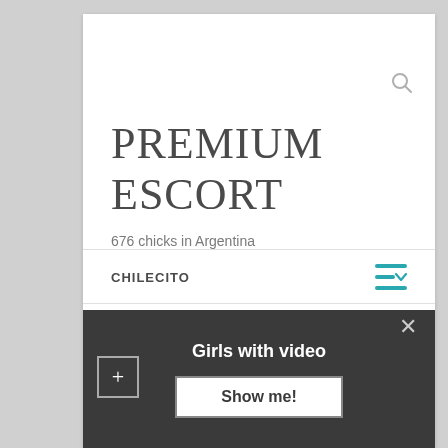PREMIUM ESCORT
676 chicks in Argentina
CHILECITO
Prostitute in Chilecito
FEATURED chicks in ... [blue link] [link]
Girls with video
Show me!